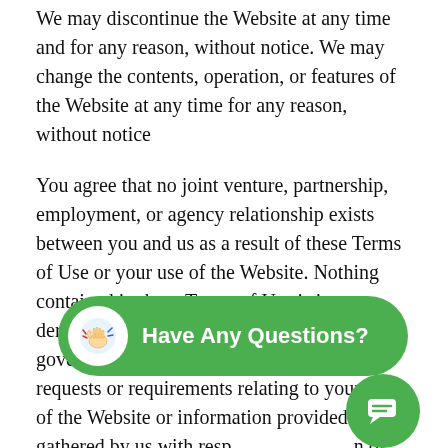We may discontinue the Website at any time and for any reason, without notice. We may change the contents, operation, or features of the Website at any time for any reason, without notice
You agree that no joint venture, partnership, employment, or agency relationship exists between you and us as a result of these Terms of Use or your use of the Website. Nothing contained in these Terms of Use is in derogation of our right to comply with governmental, court, and law enforcement requests or requirements relating to your use of the Website or information provided to or gathered by us with respect to [obscured] of these Terms of Use a[obscured] electronic form shall be ac[obscured] administrative proceedings based upon or relating t[obscured] these Terms of Use to the same extent and subje[obscured] the same conditions as other business documents and [obscured]
[Figure (other): Green pill-shaped chat widget with a hand wave emoji icon and text 'Have Any Questions?']
[Figure (other): Green circular chat bubble icon button]